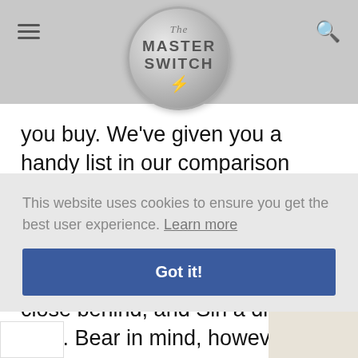The Master Switch
you buy. We've given you a handy list in our comparison table, above. As a general rule, Google Assistant is the smartest, and best at answering follow-up questions. Amazon Alexa is close behind, and Siri a distant third. Bear in mind, however, that using any of these will mean speaking aloud -
This website uses cookies to ensure you get the best user experience. Learn more
Got it!